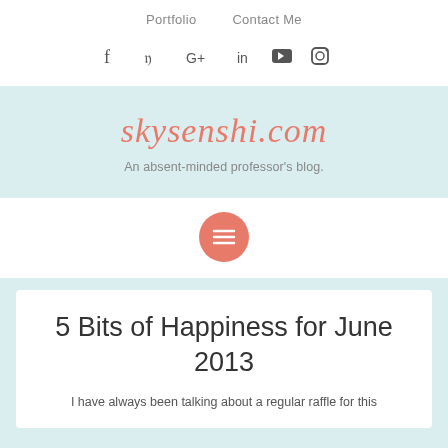Portfolio   Contact Me
[Figure (other): Social media icons: Facebook, Twitter, Google+, LinkedIn, YouTube, Instagram]
skysenshi.com
An absent-minded professor's blog.
[Figure (other): Hamburger menu button (three horizontal lines) inside a salmon/coral circle]
5 Bits of Happiness for June 2013
I have always been talking about a regular raffle for this